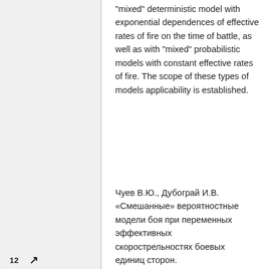"mixed" deterministic model with exponential dependences of effective rates of fire on the time of battle, as well as with "mixed" probabilistic models with constant effective rates of fire. The scope of these types of models applicability is established.
Чуев В.Ю., Дубограй И.В. «Смешанные» вероятностные модели боя при переменных эффективных скорострельностях боевых единиц сторон. Математическое моделирование и численные
12 ↗